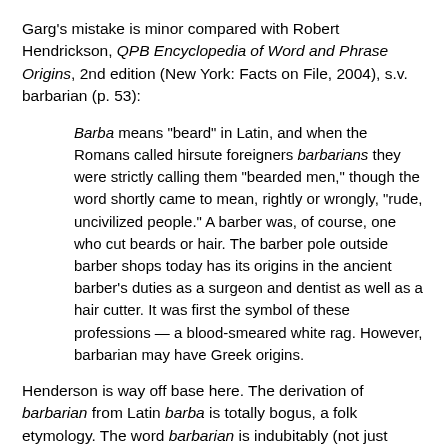Garg's mistake is minor compared with Robert Hendrickson, QPB Encyclopedia of Word and Phrase Origins, 2nd edition (New York: Facts on File, 2004), s.v. barbarian (p. 53):
Barba means "beard" in Latin, and when the Romans called hirsute foreigners barbarians they were strictly calling them "bearded men," though the word shortly came to mean, rightly or wrongly, "rude, uncivilized people." A barber was, of course, one who cut beards or hair. The barber pole outside barber shops today has its origins in the ancient barber's duties as a surgeon and dentist as well as a hair cutter. It was first the symbol of these professions — a blood-smeared white rag. However, barbarian may have Greek origins.
Henderson is way off base here. The derivation of barbarian from Latin barba is totally bogus, a folk etymology. The word barbarian is indubitably (not just possibly) Greek in origin, and it has nothing to do with beards. The Romans didn't regard bearded men as barbarians. The Romans themselves wore beards during certain historical periods and were clean-shaven in others. In general, they were beards...